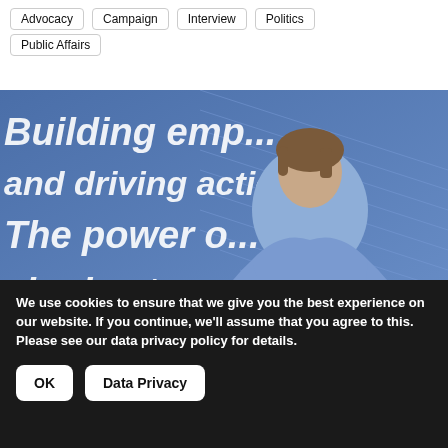Advocacy
Campaign
Interview
Politics
Public Affairs
[Figure (photo): A woman in a blue blazer speaking at a conference podium, gesturing with her hands. Behind her is a large projection screen showing partial text: 'Building emp...' / 'and driving action:' / 'The power o...' / 'single sto...']
We use cookies to ensure that we give you the best experience on our website. If you continue, we'll assume that you agree to this. Please see our data privacy policy for details.
OK
Data Privacy